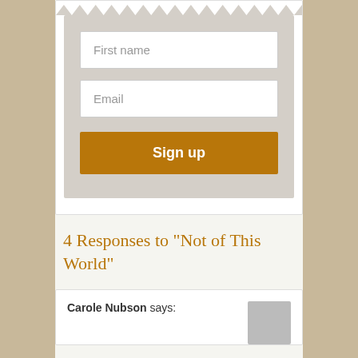[Figure (screenshot): A form with First name and Email input fields and a Sign up button on a grey background with zigzag top edge]
4 Responses to "Not of This World"
Carole Nubson says: